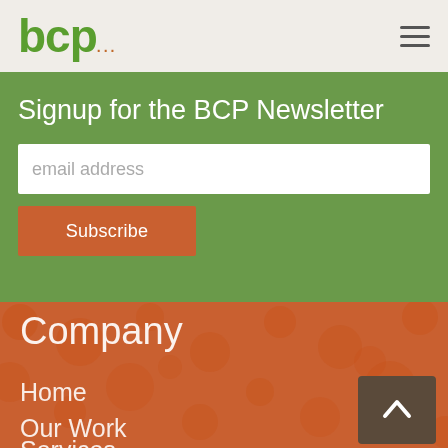bcp...
Signup for the BCP Newsletter
email address
Subscribe
Company
Home
Our Work
Services